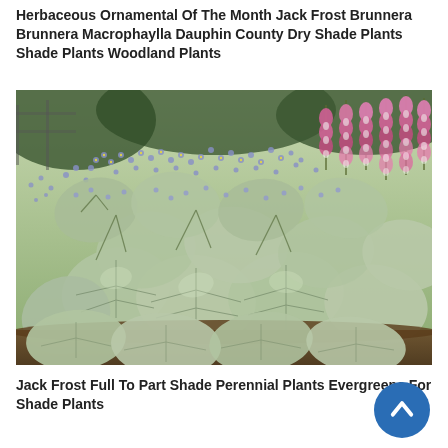Herbaceous Ornamental Of The Month Jack Frost Brunnera Brunnera Macrophaylla Dauphin County Dry Shade Plants Shade Plants Woodland Plants
[Figure (photo): Garden photo showing Brunnera macrophylla 'Jack Frost' plant with silvery heart-shaped leaves and small blue forget-me-not-like flowers, with pink bleeding heart flowers (Dicentra) visible in the upper right background.]
Jack Frost Full To Part Shade Perennial Plants Evergreens For Shade Plants